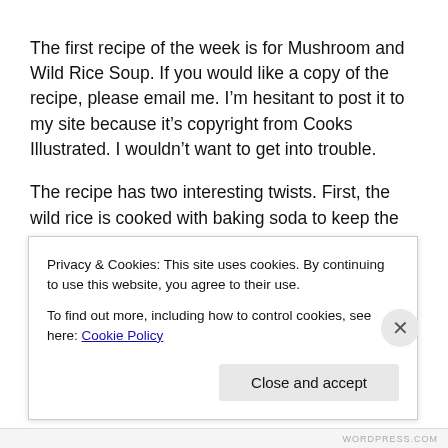The first recipe of the week is for Mushroom and Wild Rice Soup. If you would like a copy of the recipe, please email me. I'm hesitant to post it to my site because it's copyright from Cooks Illustrated. I wouldn't want to get into trouble.
The recipe has two interesting twists. First, the wild rice is cooked with baking soda to keep the grains intact. Didn't make much of a difference, as far as I could see. Our grains fell apart. However, I am a cheapskate, so I didn't buy the $25.99/lb “whole” wild rice, but the $6.99/lb “broken” wild rice. Might have something to do with it
Privacy & Cookies: This site uses cookies. By continuing to use this website, you agree to their use.
To find out more, including how to control cookies, see here: Cookie Policy
Close and accept